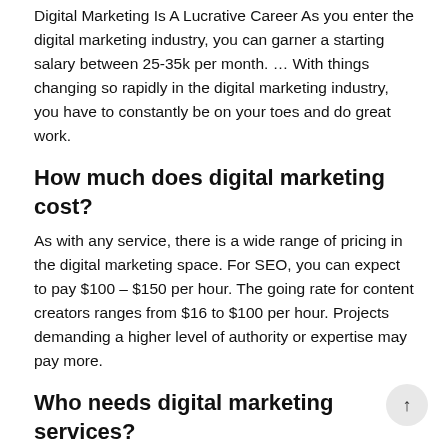Digital Marketing Is A Lucrative Career As you enter the digital marketing industry, you can garner a starting salary between 25-35k per month. … With things changing so rapidly in the digital marketing industry, you have to constantly be on your toes and do great work.
How much does digital marketing cost?
As with any service, there is a wide range of pricing in the digital marketing space. For SEO, you can expect to pay $100 – $150 per hour. The going rate for content creators ranges from $16 to $100 per hour. Projects demanding a higher level of authority or expertise may pay more.
Who needs digital marketing services?
In today's competition time, each & every business or company needs digital marketing. Digital marketing is not only gives a business online exposure but also it is helpful i…